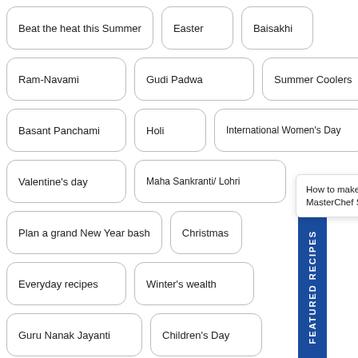Beat the heat this Summer
Easter
Baisakhi
Ram-Navami
Gudi Padwa
Summer Coolers
Basant Panchami
Holi
International Women's Day
Valentine's day
Maha Sankranti/ Lohri
[Figure (other): FEATURED RECIPES vertical blue banner on left side of page]
How to make Zarda Boondi Biryani, recipe by MasterChef Sanjeev Kapoor
Plan a grand New Year bash
Christmas
Everyday recipes
Winter's wealth
Guru Nanak Jayanti
Children's Day